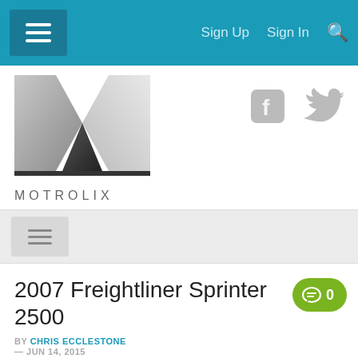Sign Up  Sign In
[Figure (logo): Motrolix logo - stylized M shape in grayscale with MOTROLIX text below]
[Figure (other): Facebook and Twitter social media icons in gray]
2007 Freightliner Sprinter 2500
BY CHRIS ECCLESTONE
— JUN 14, 2015
0 (comments)
SHARE
Sponsored Links
0   0